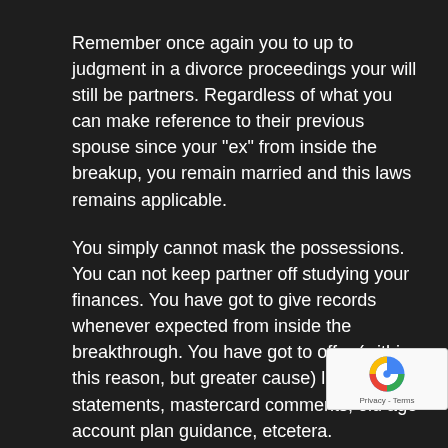Remember once again you to up to judgment in a divorce proceedings your will still be partners. Regardless of what you can make reference to their previous spouse since your "ex" from inside the breakup, you remain married and this laws remains applicable.
You simply cannot mask the possessions. You can not keep partner off studying your finances. You have got to give records whenever expected from inside the breakthrough. You have got to offer (within this reason, but greater cause) lender statements, mastercard comments, old age account plan guidance, etcetera.
When you are located in town assets domestic throughout the break up, you have to secure the almost every other class apprised of all of the advancement relating the house. Rating a notice about lender regarding the a modification of the new interest? Unless...